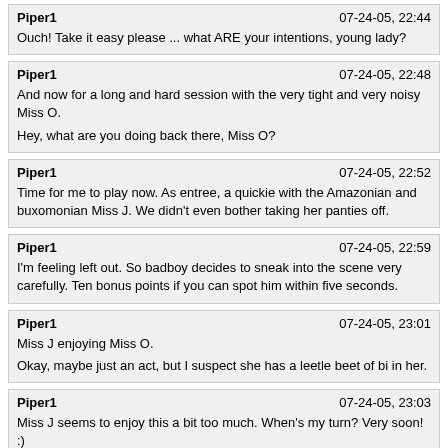Piper1 | 07-24-05, 22:44 | Ouch! Take it easy please ... what ARE your intentions, young lady?
Piper1 | 07-24-05, 22:48 | And now for a long and hard session with the very tight and very noisy Miss O.

Hey, what are you doing back there, Miss O?
Piper1 | 07-24-05, 22:52 | Time for me to play now. As entree, a quickie with the Amazonian and buxomonian Miss J. We didn't even bother taking her panties off.
Piper1 | 07-24-05, 22:59 | I'm feeling left out. So badboy decides to sneak into the scene very carefully. Ten bonus points if you can spot him within five seconds.
Piper1 | 07-24-05, 23:01 | Miss J enjoying Miss O.

Okay, maybe just an act, but I suspect she has a leetle beet of bi in her.
Piper1 | 07-24-05, 23:03 | Miss J seems to enjoy this a bit too much. When's my turn? Very soon! :)